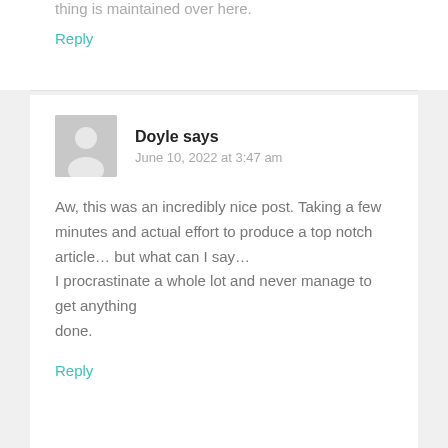thing is maintained over here.
Reply
Doyle says
June 10, 2022 at 3:47 am
Aw, this was an incredibly nice post. Taking a few minutes and actual effort to produce a top notch article… but what can I say… I procrastinate a whole lot and never manage to get anything done.
Reply